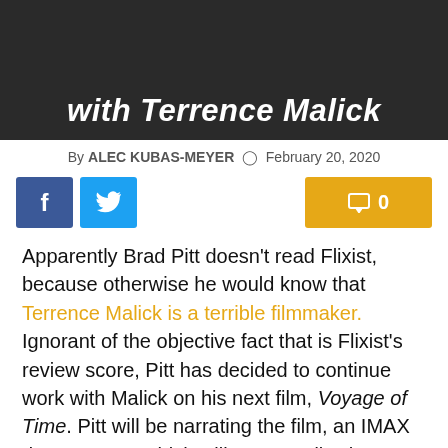with Terrence Malick
By ALEC KUBAS-MEYER  February 20, 2020
[Figure (other): Social media share buttons: Facebook, Twitter on the left; comment count (0) on the right]
Apparently Brad Pitt doesn’t read Flixist, because otherwise he would know that Terrence Malick is a terrible filmmaker. Ignorant of the objective fact that is Flixist’s review score, Pitt has decided to continue work with Malick on his next film, Voyage of Time. Pitt will be narrating the film, an IMAX documentary which will purportedly show viewers the entirety of time, from creation to destruction. Which is to say, he’s basically redoing the Tree of Life without all of the story bits. It may be possible that Tree of Life was little more than a testing ground for this next film. As our